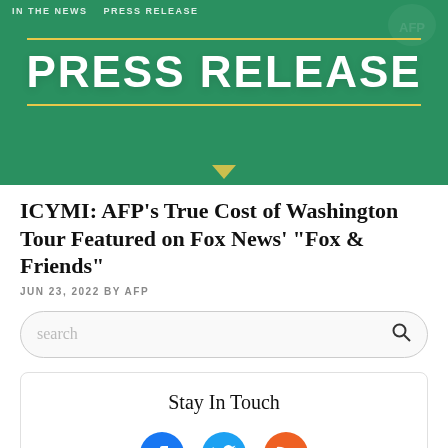[Figure (illustration): Green press release banner with 'PRESS RELEASE' text in large white bold uppercase letters, two gold horizontal lines above and below the text, and navigation tabs 'IN THE NEWS' and 'PRESS RELEASE' at the top.]
ICYMI: AFP’s True Cost of Washington Tour Featured on Fox News’ “Fox & Friends”
JUN 23, 2022 BY AFP
search
Stay In Touch